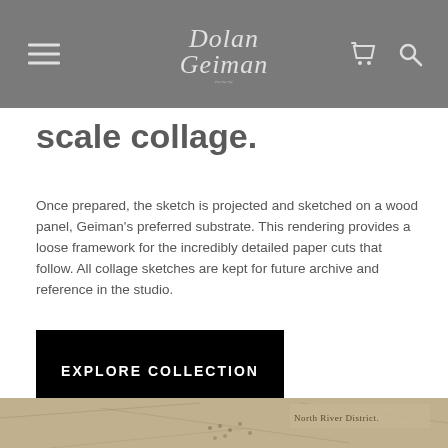Dolan Geiman
scale collage.
Once prepared, the sketch is projected and sketched on a wood panel, Geiman’s preferred substrate. This rendering provides a loose framework for the incredibly detailed paper cuts that follow. All collage sketches are kept for future archive and reference in the studio.
EXPLORE COLLECTION
[Figure (photo): Bottom portion showing vintage map fragments with text 'North River District' visible]